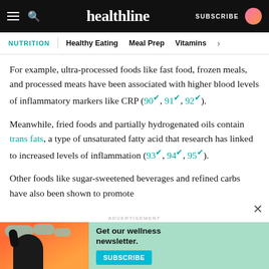healthline | SUBSCRIBE
NUTRITION | Healthy Eating | Meal Prep | Vitamins
For example, ultra-processed foods like fast food, frozen meals, and processed meats have been associated with higher blood levels of inflammatory markers like CRP (90, 91, 92).
Meanwhile, fried foods and partially hydrogenated oils contain trans fats, a type of unsaturated fatty acid that research has linked to increased levels of inflammation (93, 94, 95).
Other foods like sugar-sweetened beverages and refined carbs have also been shown to promote
ADVERTISEMENT
[Figure (infographic): Advertisement banner: Get our wellness newsletter. SUBSCRIBE button. Features illustration of a person with clouds on orange/red gradient background.]